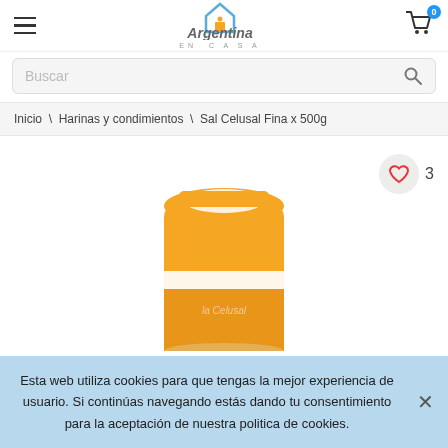Argentina en Casa
Buscar
Inicio \ Harinas y condimientos \ Sal Celusal Fina x 500g
[Figure (photo): Product photo of Sal Celusal Fina x 500g - an orange salt shaker container with white cap, partially cropped]
3
Esta web utiliza cookies para que tengas la mejor experiencia de usuario. Si continúas navegando estás dando tu consentimiento para la aceptación de nuestra politica de cookies.